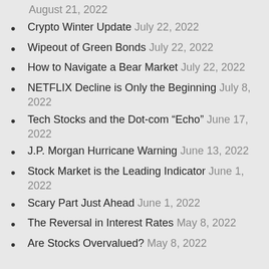August 21, 2022
Crypto Winter Update July 22, 2022
Wipeout of Green Bonds July 22, 2022
How to Navigate a Bear Market July 22, 2022
NETFLIX Decline is Only the Beginning July 8, 2022
Tech Stocks and the Dot-com “Echo” June 17, 2022
J.P. Morgan Hurricane Warning June 13, 2022
Stock Market is the Leading Indicator June 1, 2022
Scary Part Just Ahead June 1, 2022
The Reversal in Interest Rates May 8, 2022
Are Stocks Overvalued? May 8, 2022